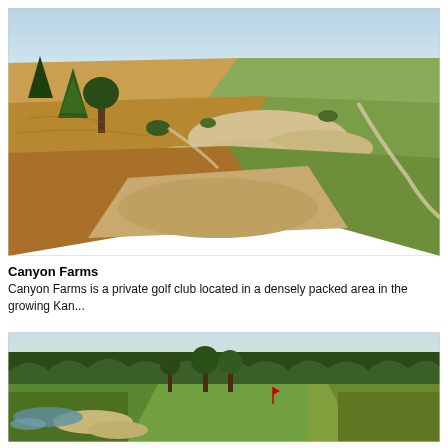[Figure (photo): Aerial view of Canyon Farms golf course showing sandy bunkers, golden prairie grass, scattered trees, and green fairways under a pale blue sky.]
Canyon Farms
Canyon Farms is a private golf club located in a densely packed area in the growing Kan...
[Figure (photo): Ground-level view of a lush green golf course with trees lining the fairway, sand bunkers visible, and a golden late-afternoon light.]